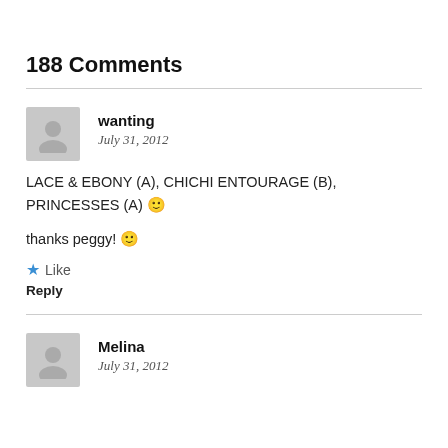188 Comments
wanting
July 31, 2012
LACE & EBONY (A), CHICHI ENTOURAGE (B), PRINCESSES (A) 🙂
thanks peggy! 🙂
★ Like
Reply
Melina
July 31, 2012